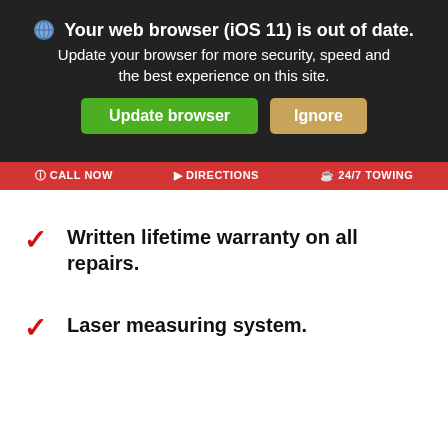[Figure (screenshot): Browser update warning banner with dark background showing 'Your web browser (iOS 11) is out of date.' headline, subtext 'Update your browser for more security, speed and the best experience on this site.', and two buttons: green 'Update browser' and tan 'Ignore'.]
[Figure (screenshot): Red navigation bar with 'CALL NOW', 'DIRECTIONS', and '24/7 TOWING' links in white text.]
Written lifetime warranty on all repairs.
Laser measuring system.